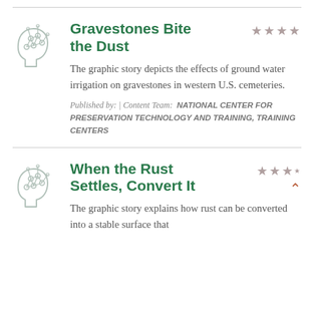Gravestones Bite the Dust
The graphic story depicts the effects of ground water irrigation on gravestones in western U.S. cemeteries.
Published by: | Content Team: NATIONAL CENTER FOR PRESERVATION TECHNOLOGY AND TRAINING, TRAINING CENTERS
When the Rust Settles, Convert It
The graphic story explains how rust can be converted into a stable surface that